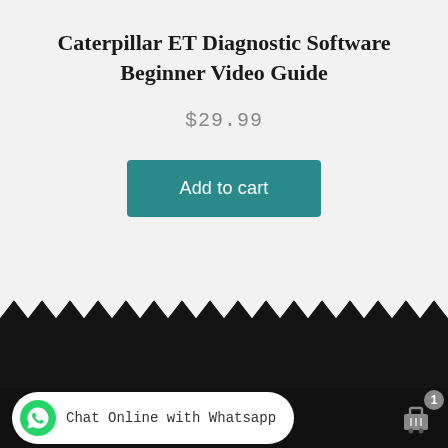Caterpillar ET Diagnostic Software Beginner Video Guide
$29.99
Add to cart
[Figure (screenshot): Dark website footer section with a grey placeholder image rectangle and a partially visible navigation element]
Chat Online with Whatsapp